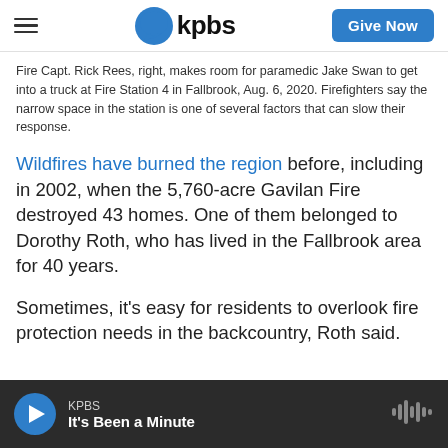kpbs | Give Now
Fire Capt. Rick Rees, right, makes room for paramedic Jake Swan to get into a truck at Fire Station 4 in Fallbrook, Aug. 6, 2020. Firefighters say the narrow space in the station is one of several factors that can slow their response.
Wildfires have burned the region before, including in 2002, when the 5,760-acre Gavilan Fire destroyed 43 homes. One of them belonged to Dorothy Roth, who has lived in the Fallbrook area for 40 years.
Sometimes, it’s easy for residents to overlook fire protection needs in the backcountry, Roth said.
KPBS | It's Been a Minute